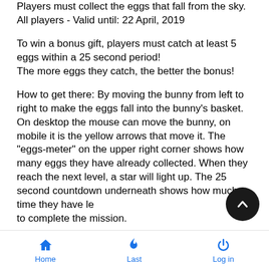Players must collect the eggs that fall from the sky.
All players - Valid until: 22 April, 2019
To win a bonus gift, players must catch at least 5 eggs within a 25 second period!
The more eggs they catch, the better the bonus!
How to get there: By moving the bunny from left to right to make the eggs fall into the bunny's basket. On desktop the mouse can move the bunny, on mobile it is the yellow arrows that move it. The "eggs-meter" on the upper right corner shows how many eggs they have already collected. When they reach the next level, a star will light up. The 25 second countdown underneath shows how much time they have le… to complete the mission.
Home  Last  Log in